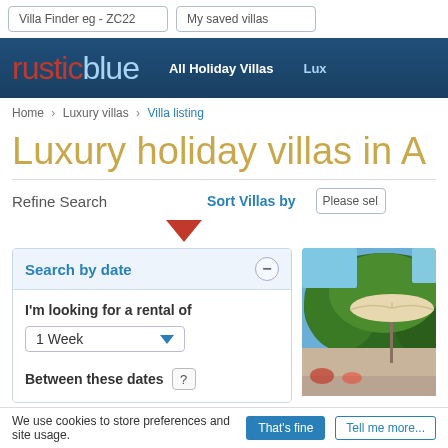Villa Finder eg - ZC22 | My saved villas
[Figure (logo): rusticblue logo with navigation links: All Holiday Villas, Lux]
Home › Luxury villas › Villa listing
Luxury holiday villas in A
Refine Search    Sort Villas by   Please sel
Search by date
I'm looking for a rental of
1 Week
Between these dates ?
[Figure (photo): Photo of villa courtyard with trees and a parasol umbrella]
We use cookies to store preferences and site usage.   That's fine   Tell me more...